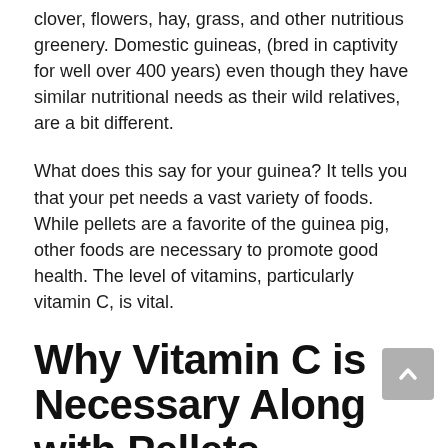clover, flowers, hay, grass, and other nutritious greenery. Domestic guineas, (bred in captivity for well over 400 years) even though they have similar nutritional needs as their wild relatives, are a bit different.
What does this say for your guinea? It tells you that your pet needs a vast variety of foods. While pellets are a favorite of the guinea pig, other foods are necessary to promote good health. The level of vitamins, particularly vitamin C, is vital.
Why Vitamin C is Necessary Along with Pellets